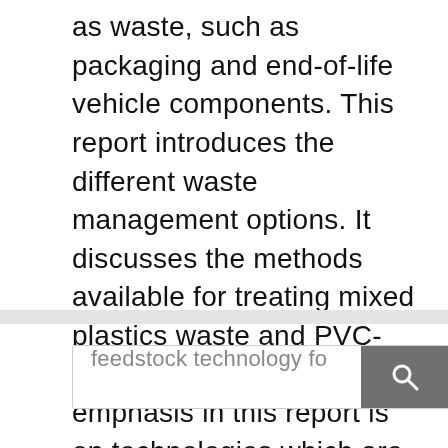as waste, such as packaging and end-of-life vehicle components. This report introduces the different waste management options. It discusses the methods available for treating mixed plastics waste and PVC-rich plastics waste. The emphasis in this report is on technologies which are already being used or assessed for use on a commercial scale. Comparisons are made between the different types of
[Figure (screenshot): Search bar with placeholder text 'feedstock technology fo' and a dark grey search button with magnifying glass icon]